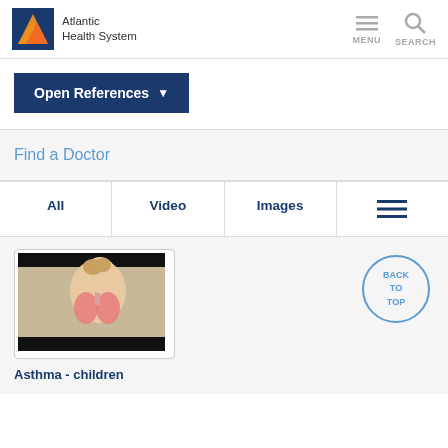Atlantic Health System
Open References
Find a Doctor
All | Video | Images
[Figure (photo): Medical illustration showing a child's body with lungs and trachea visible, used as thumbnail for Asthma - children video]
Asthma - children